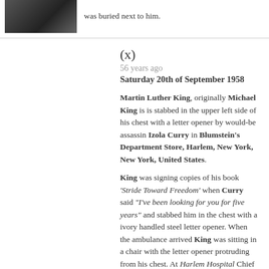[Figure (photo): Black and white photo of a person, partial view]
was buried next to him.
(x)
56 years ago
Saturday 20th of September 1958
Martin Luther King, originally Michael King is is stabbed in the upper left side of his chest with a letter opener by would-be assassin Izola Curry in Blumstein's Department Store, Harlem, New York, New York, United States.
King was signing copies of his book 'Stride Toward Freedom' when Curry said "I've been looking for you for five years" and stabbed him in the chest with a ivory handled steel letter opener. When the ambulance arrived King was sitting in a chair with the letter opener protruding from his chest. At Harlem Hospital Chief of Surgery